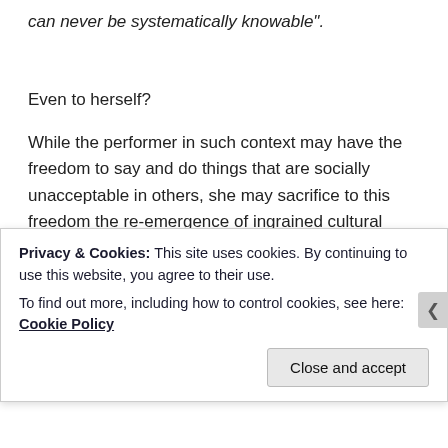can never be systematically knowable".
Even to herself?
While the performer in such context may have the freedom to say and do things that are socially unacceptable in others, she may sacrifice to this freedom the re-emergence of ingrained cultural anxieties about female uncontrollability, unruliness, indefinable qualities and disquiet with gender roles and limitations;
Privacy & Cookies: This site uses cookies. By continuing to use this website, you agree to their use.
To find out more, including how to control cookies, see here: Cookie Policy
Close and accept